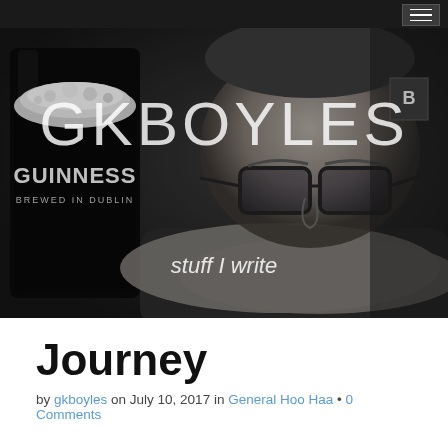[Figure (photo): Black and white hero image of a man with glasses resting his chin on his arm next to a Guinness pint glass. The blog header shows 'GKBOYLES' in large light letters overlaid on the photo, and 'stuff I write' as a subtitle.]
Journey
by gkboyles on July 10, 2017 in General Hoo Haa • 0 Comments